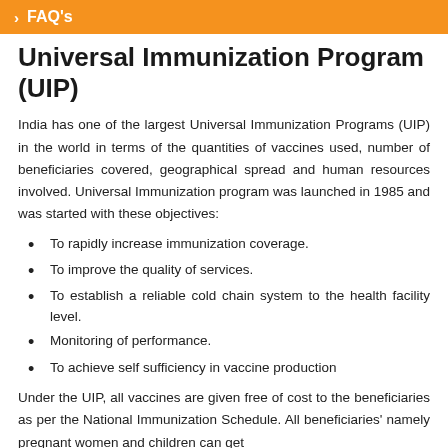FAQ's
Universal Immunization Program (UIP)
India has one of the largest Universal Immunization Programs (UIP) in the world in terms of the quantities of vaccines used, number of beneficiaries covered, geographical spread and human resources involved. Universal Immunization program was launched in 1985 and was started with these objectives:
To rapidly increase immunization coverage.
To improve the quality of services.
To establish a reliable cold chain system to the health facility level.
Monitoring of performance.
To achieve self sufficiency in vaccine production
Under the UIP, all vaccines are given free of cost to the beneficiaries as per the National Immunization Schedule. All beneficiaries' namely pregnant women and children can get